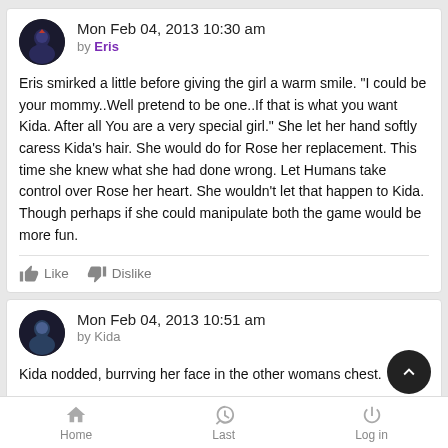Mon Feb 04, 2013 10:30 am
by Eris
Eris smirked a little before giving the girl a warm smile. "I could be your mommy..Well pretend to be one..If that is what you want Kida. After all You are a very special girl." She let her hand softly caress Kida's hair. She would do for Rose her replacement. This time she knew what she had done wrong. Let Humans take control over Rose her heart. She wouldn't let that happen to Kida. Though perhaps if she could manipulate both the game would be more fun.
Like   Dislike
Mon Feb 04, 2013 10:51 am
by Kida
Kida nodded, burrving her face in the other womans chest.
Home   Last   Log in